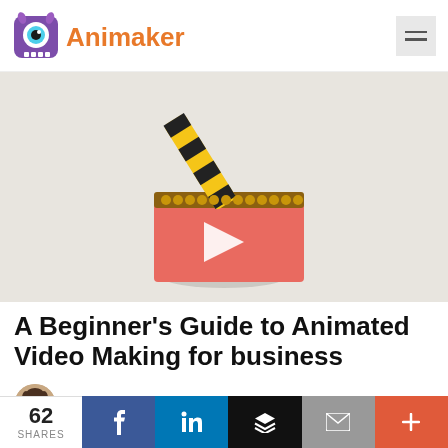Animaker
[Figure (illustration): Animated clapperboard with yellow and black stripes on top arm, red lower board with white play button triangle, on a light beige background]
A Beginner’s Guide to Animated Video Making for business
Raghav - March 4, 2014 - 3 Comments
62 SHARES | Facebook | LinkedIn | Buffer | Email | +